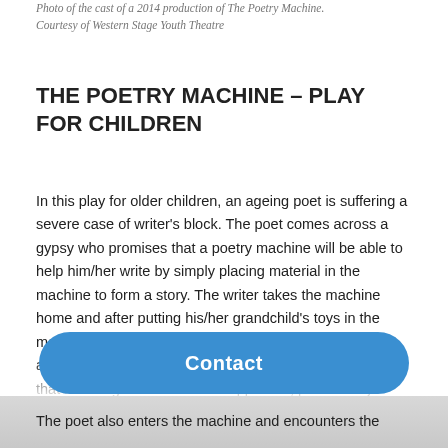Photo of the cast of a 2014 production of The Poetry Machine. Courtesy of Western Stage Youth Theatre
THE POETRY MACHINE – PLAY FOR CHILDREN
In this play for older children, an ageing poet is suffering a severe case of writer's block. The poet comes across a gypsy who promises that a poetry machine will be able to help him/her write by simply placing material in the machine to form a story. The writer takes the machine home and after putting his/her grandchild's toys in the machine, concocts a story in poetry about a pirate, robot and teddy bear. The poet finishes reading the story to find that his/her grandchild has disappeared, presumably
Contact
The poet also enters the machine and encounters the